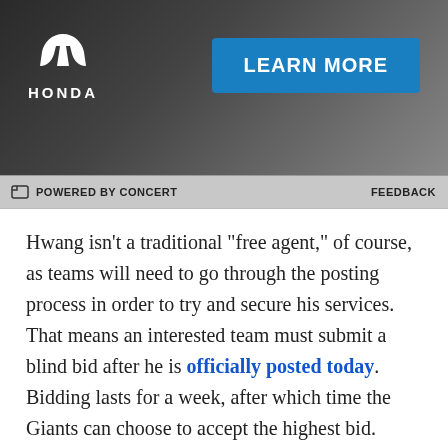[Figure (other): Honda advertisement banner with Honda logo on left and 'LEARN MORE' blue button on right, dark gradient background]
POWERED BY CONCERT   FEEDBACK
Hwang isn't a traditional "free agent," of course, as teams will need to go through the posting process in order to try and secure his services. That means an interested team must submit a blind bid after he is officially posted today. Bidding lasts for a week, after which time the Giants can choose to accept the highest bid. Whichever club is chosen as the winner will then have a 30 day window to negotiate a contract with Hwang. Unlike Son, Hwang would become an unrestricted free agent after next season, meaning he freely to pursue a big league deal without the Giants receiving any sort of compensation.